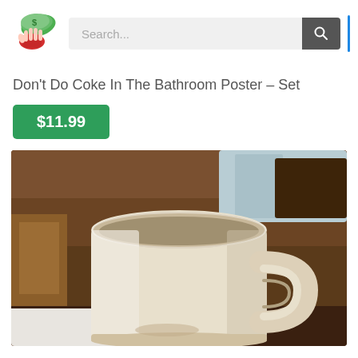[Figure (logo): Hand holding money bills cartoon logo]
[Figure (screenshot): Search bar with search button and blue vertical divider]
Don't Do Coke In The Bathroom Poster – Set
$11.99
[Figure (photo): Close-up photo of a cream/white ceramic mug on a wooden table surface with dark wooden background]